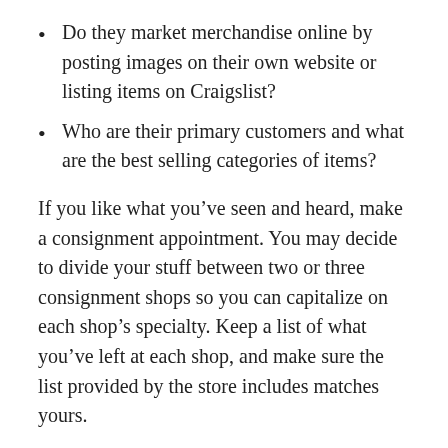Do they market merchandise online by posting images on their own website or listing items on Craigslist?
Who are their primary customers and what are the best selling categories of items?
If you like what you’ve seen and heard, make a consignment appointment. You may decide to divide your stuff between two or three consignment shops so you can capitalize on each shop’s specialty. Keep a list of what you’ve left at each shop, and make sure the list provided by the store includes matches yours.
At the appointment, be open-minded. But don’t be afraid to decide not to leave things if the price the owner suggests is too low for your liking. Be realistic, your goal is to turn things you aren’t using into cash, but if you’re